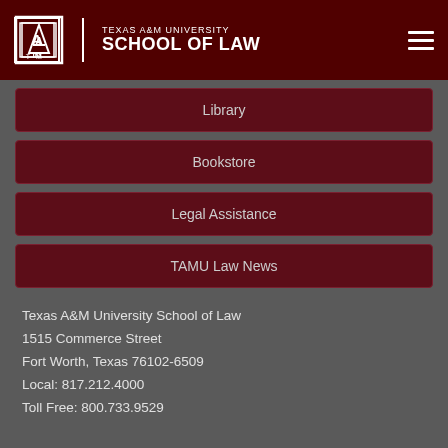Texas A&M University School of Law
Library
Bookstore
Legal Assistance
TAMU Law News
Texas A&M University School of Law
1515 Commerce Street
Fort Worth, Texas 76102-6509
Local: 817.212.4000
Toll Free: 800.733.9529